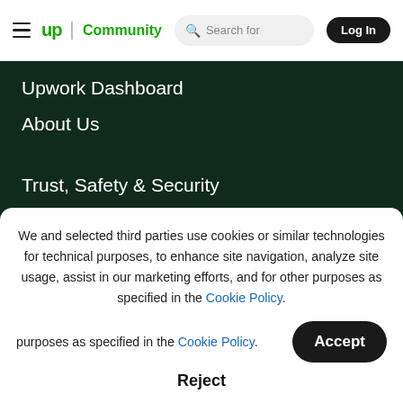≡ up | Community  Search for  Log In
Upwork Dashboard
About Us
Trust, Safety & Security
Help & Support
Upwork Foundation
We and selected third parties use cookies or similar technologies for technical purposes, to enhance site navigation, analyze site usage, assist in our marketing efforts, and for other purposes as specified in the Cookie Policy.
Accept
Reject